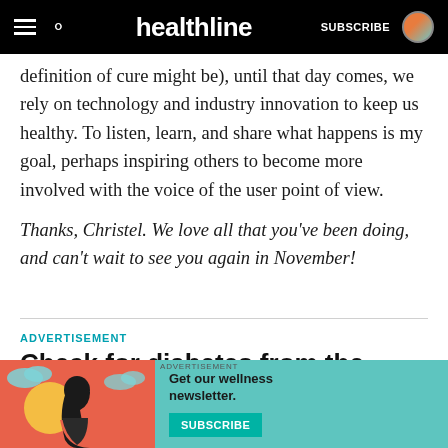healthline | SUBSCRIBE
definition of cure might be), until that day comes, we rely on technology and industry innovation to keep us healthy. To listen, learn, and share what happens is my goal, perhaps inspiring others to become more involved with the voice of the user point of view.
Thanks, Christel. We love all that you've been doing, and can't wait to see you again in November!
ADVERTISEMENT
Check for diabetes from the privacy of your own home.
[Figure (illustration): Healthline advertisement banner with illustrated woman and teal background. Text: 'Get our wellness newsletter.' with a SUBSCRIBE button.]